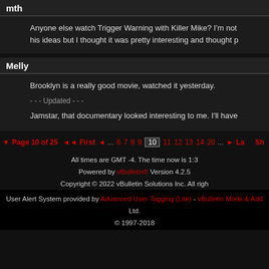mth
Anyone else watch Trigger Warning with Killer Mike? I'm not his ideas but I thought it was pretty interesting and thought p
Melly
Brooklyn is a really good movie, watched it yesterday.
- - - Updated - - -
Jamstar, that documentary looked interesting to me. I'll have
Page 10 of 25   First  ...  6  7  8  9  10  11  12  13  14  20  ...  La
All times are GMT -4. The time now is 1:3
Powered by vBulletin® Version 4.2.5
Copyright © 2022 vBulletin Solutions Inc. All righ
User Alert System provided by Advanced User Tagging (Lite) - vBulletin Mods & Add Ltd.
© 1997-2018